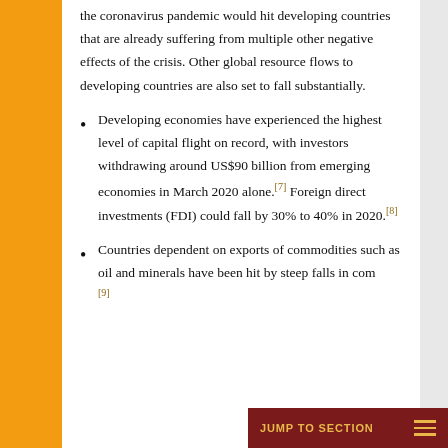the coronavirus pandemic would hit developing countries that are already suffering from multiple other negative effects of the crisis. Other global resource flows to developing countries are also set to fall substantially.
Developing economies have experienced the highest level of capital flight on record, with investors withdrawing around US$90 billion from emerging economies in March 2020 alone.[7] Foreign direct investments (FDI) could fall by 30% to 40% in 2020.[8]
Countries dependent on exports of commodities such as oil and minerals have been hit by steep falls in com...[9]